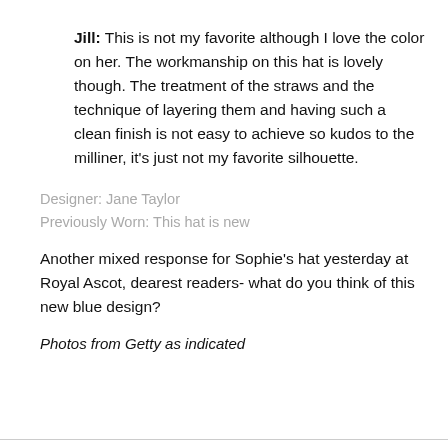Jill: This is not my favorite although I love the color on her. The workmanship on this hat is lovely though. The treatment of the straws and the technique of layering them and having such a clean finish is not easy to achieve so kudos to the milliner, it's just not my favorite silhouette.
Designer: Jane Taylor
Previously Worn: This hat is new
Another mixed response for Sophie's hat yesterday at Royal Ascot, dearest readers- what do you think of this new blue design?
Photos from Getty as indicated